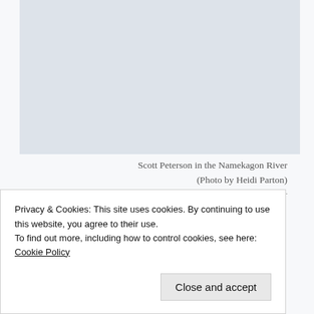[Figure (photo): Photo placeholder area - Scott Peterson in the Namekagon River]
Scott Peterson in the Namekagon River
(Photo by Heidi Parton)
This past summer, Scott Peterson spearheaded a project to remove yellow flag iris, an aquatic
Privacy & Cookies: This site uses cookies. By continuing to use this website, you agree to their use.
To find out more, including how to control cookies, see here: Cookie Policy
menacing. Yellow iris is poisonous and this